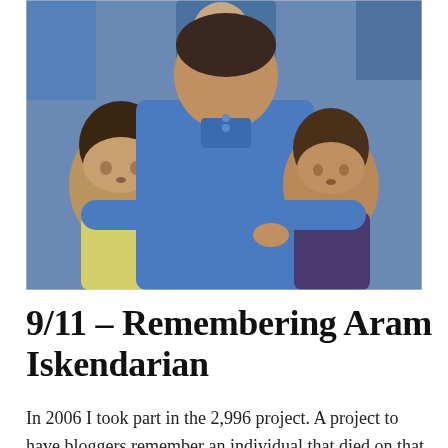[Figure (photo): A man in a blue polo shirt holding two young children, one on each side. The child on the left wears a yellow shirt and the child on the right wears a dark purple shirt. The photo appears to be from the early 2000s.]
9/11 – Remembering Aram Iskendarian
In 2006 I took part in the 2,996 project. A project to have bloggers remember an individual that died on that horrific day 12 years ago. I was assigned Aram Iskendarian. This is a repost of my tribute, last year and to come...